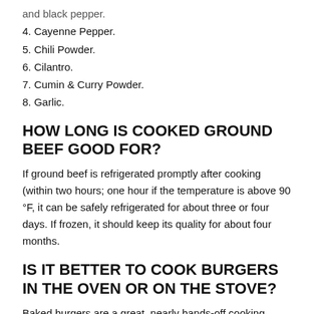and black pepper.
4. Cayenne Pepper.
5. Chili Powder.
6. Cilantro.
7. Cumin & Curry Powder.
8. Garlic.
HOW LONG IS COOKED GROUND BEEF GOOD FOR?
If ground beef is refrigerated promptly after cooking (within two hours; one hour if the temperature is above 90 °F, it can be safely refrigerated for about three or four days. If frozen, it should keep its quality for about four months.
IS IT BETTER TO COOK BURGERS IN THE OVEN OR ON THE STOVE?
Baked burgers are a great, nearly hands-off cooking method that won't fill your kitchen with the smell of frying beef. Pan-fried burgers, on the other hand, have the benefit of a tasty sear from the cast-iron skillet. And, if it's hot out, cooking burgers on the stove -top won't heat your house as baking burgers will.